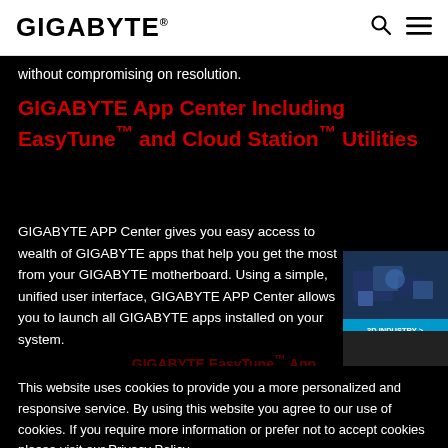GIGABYTE
without compromising on resolution.
GIGABYTE App Center Including EasyTune™ and Cloud Station™ Utilities
GIGABYTE APP Center gives you easy access to wealth of GIGABYTE apps that help you get the most from your GIGABYTE motherboard. Using a simple, unified user interface, GIGABYTE APP Center allows you to launch all GIGABYTE apps installed on your system.
[Figure (photo): 3D Industry advertisement showing aerial/isometric view of industrial facility]
GIGABYTE EasyTune™ App
This website uses cookies to provide you a more personalized and responsive service. By using this website you agree to our use of cookies. If you require more information or prefer not to accept cookies please visit our Privacy Policy
simple and easy-to-use interface that allows users to fine-tune their system settings or adjust system and just system settings in a windows environment.